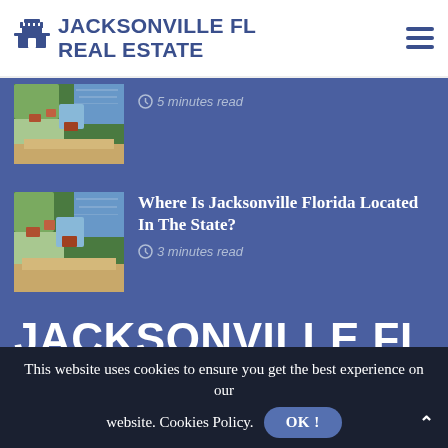JACKSONVILLE FL REAL ESTATE
5 minutes read
Where Is Jacksonville Florida Located In The State?
3 minutes read
JACKSONVILLE FL REAL ESTATE
This website uses cookies to ensure you get the best experience on our website. Cookies Policy. OK!